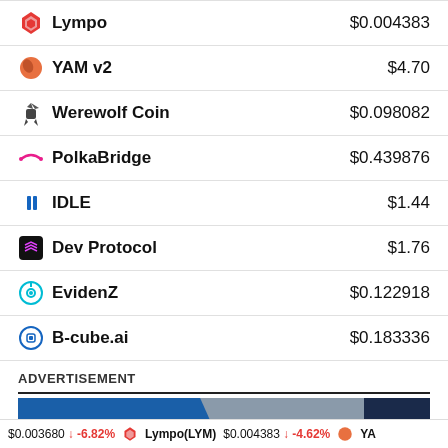| Coin | Price |
| --- | --- |
| Lympo | $0.004383 |
| YAM v2 | $4.70 |
| Werewolf Coin | $0.098082 |
| PolkaBridge | $0.439876 |
| IDLE | $1.44 |
| Dev Protocol | $1.76 |
| EvidenZ | $0.122918 |
| B-cube.ai | $0.183336 |
ADVERTISEMENT
[Figure (photo): Advertisement banner image with blue and dark background]
$0.003680 ↓ -6.82% Lympo(LYM) $0.004383 ↓ -4.62% YA